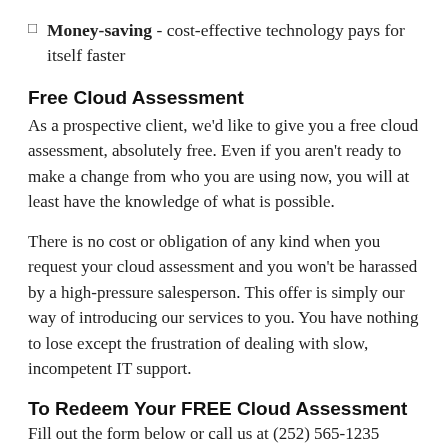Money-saving - cost-effective technology pays for itself faster
Free Cloud Assessment
As a prospective client, we'd like to give you a free cloud assessment, absolutely free. Even if you aren't ready to make a change from who you are using now, you will at least have the knowledge of what is possible.
There is no cost or obligation of any kind when you request your cloud assessment and you won't be harassed by a high-pressure salesperson. This offer is simply our way of introducing our services to you. You have nothing to lose except the frustration of dealing with slow, incompetent IT support.
To Redeem Your FREE Cloud Assessment
Fill out the form below or call us at (252) 565-1235